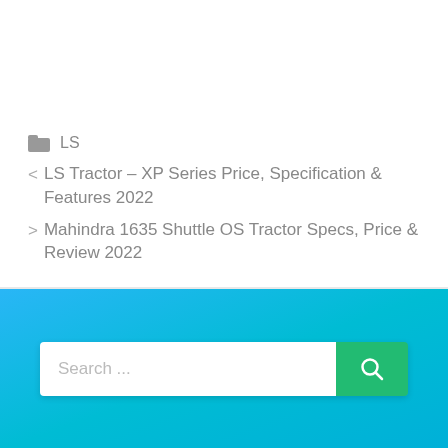LS
< LS Tractor – XP Series Price, Specification & Features 2022
> Mahindra 1635 Shuttle OS Tractor Specs, Price & Review 2022
[Figure (screenshot): Search bar with white input field showing placeholder 'Search ...' and a green search button with magnifying glass icon, set against a blue gradient background.]